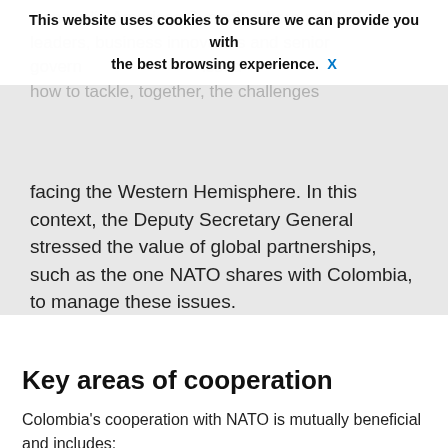Concordia Americas Summit, where political leaders, business innovators and senior government representatives discussed how to tackle, together, the challenges facing the Western Hemisphere. In this context, the Deputy Secretary General stressed the value of global partnerships, such as the one NATO shares with Colombia, to manage these issues.
This website uses cookies to ensure we can provide you with the best browsing experience. X
Key areas of cooperation
Colombia's cooperation with NATO is mutually beneficial and includes:
Building capabilities and interoperability
Through training, education and exercises, NATO